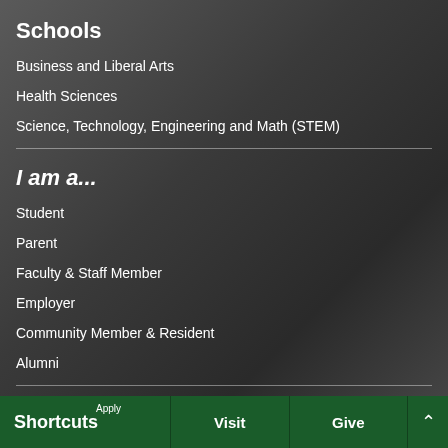Schools
Business and Liberal Arts
Health Sciences
Science, Technology, Engineering and Math (STEM)
I am a...
Student
Parent
Faculty & Staff Member
Employer
Community Member & Resident
Alumni
Shortcuts  Apply  Visit  Give